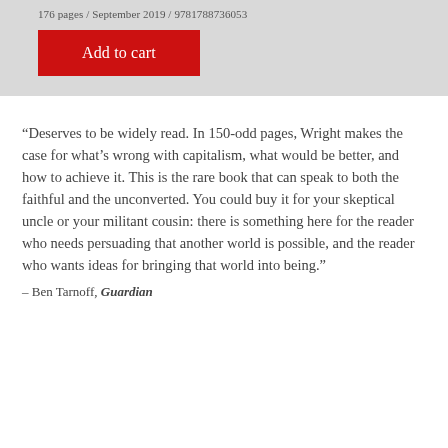176 pages / September 2019 / 9781788736053
Add to cart
“Deserves to be widely read. In 150-odd pages, Wright makes the case for what’s wrong with capitalism, what would be better, and how to achieve it. This is the rare book that can speak to both the faithful and the unconverted. You could buy it for your skeptical uncle or your militant cousin: there is something here for the reader who needs persuading that another world is possible, and the reader who wants ideas for bringing that world into being.”
– Ben Tarnoff, Guardian